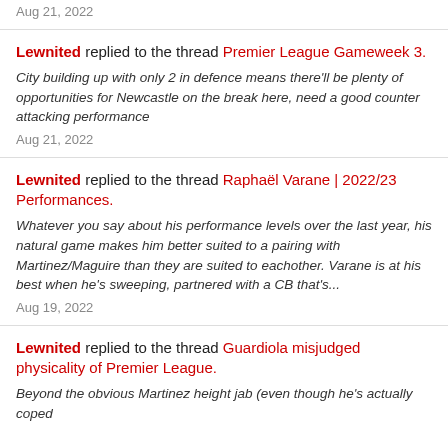Aug 21, 2022
Lewnited replied to the thread Premier League Gameweek 3.
City building up with only 2 in defence means there'll be plenty of opportunities for Newcastle on the break here, need a good counter attacking performance
Aug 21, 2022
Lewnited replied to the thread Raphaël Varane | 2022/23 Performances.
Whatever you say about his performance levels over the last year, his natural game makes him better suited to a pairing with Martinez/Maguire than they are suited to eachother. Varane is at his best when he's sweeping, partnered with a CB that's...
Aug 19, 2022
Lewnited replied to the thread Guardiola misjudged physicality of Premier League.
Beyond the obvious Martinez height jab (even though he's actually coped